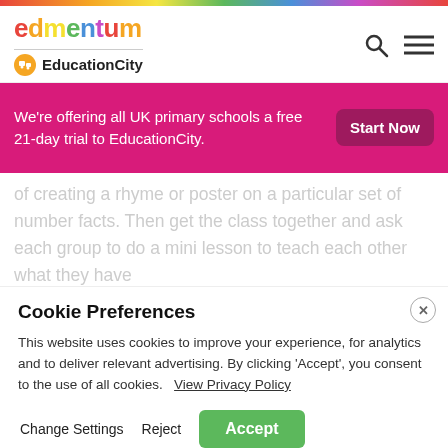edmentum | EducationCity
We're offering all UK primary schools a free 21-day trial to EducationCity.
of creating a rhyme or poster on a particular set of number facts. Then get the class together and ask each group to do a mini lesson to teach each other what they have
Cookie Preferences
This website uses cookies to improve your experience, for analytics and to deliver relevant advertising. By clicking 'Accept', you consent to the use of all cookies. View Privacy Policy
Change Settings   Reject   Accept